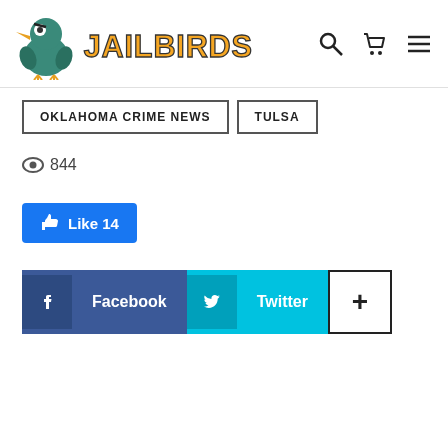[Figure (logo): Jailbirds website logo with cartoon bird mascot and stylized JAILBIRDS text]
OKLAHOMA CRIME NEWS | TULSA
844 views
Like 14
Facebook | Twitter | +